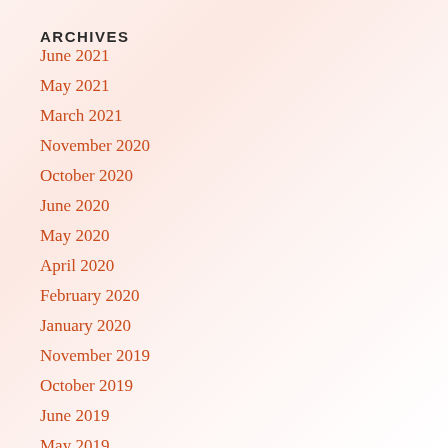ARCHIVES
June 2021
May 2021
March 2021
November 2020
October 2020
June 2020
May 2020
April 2020
February 2020
January 2020
November 2019
October 2019
June 2019
May 2019
April 2019